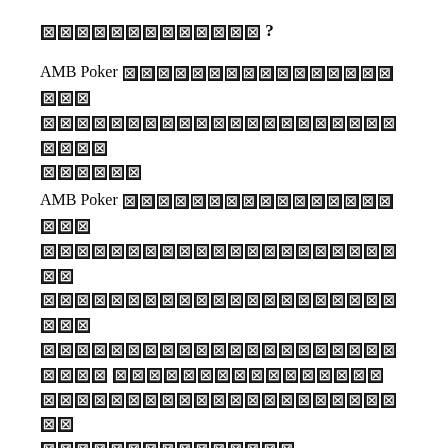[REDACTED CHARACTERS] ?
AMB Poker [REDACTED] [REDACTED] [REDACTED]
AMB Poker [REDACTED] [REDACTED] [REDACTED] [REDACTED] [REDACTED] [REDACTED] [REDACTED], [REDACTED], [REDACTED], [REDACTED] [REDACTED], [REDACTED], [REDACTED] [REDACTED], [REDACTED], [REDACTED] [REDACTED]